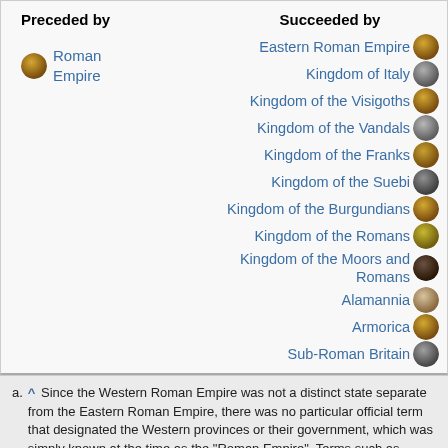| Preceded by | Succeeded by |
| --- | --- |
| Roman Empire | Eastern Roman Empire |
|  | Kingdom of Italy |
|  | Kingdom of the Visigoths |
|  | Kingdom of the Vandals |
|  | Kingdom of the Franks |
|  | Kingdom of the Suebi |
|  | Kingdom of the Burgundians |
|  | Kingdom of the Romans |
|  | Kingdom of the Moors and Romans |
|  | Alamannia |
|  | Armorica |
|  | Sub-Roman Britain |
a. ^ Since the Western Roman Empire was not a distinct state separate from the Eastern Roman Empire, there was no particular official term that designated the Western provinces or their government, which was simply known at the time as the "Roman Empire". Terms such as Imperium Romanum Occidentale and Hesperium Imperium were either never in official usage or invented by later medieval or modern historians long after the Western Roman court had